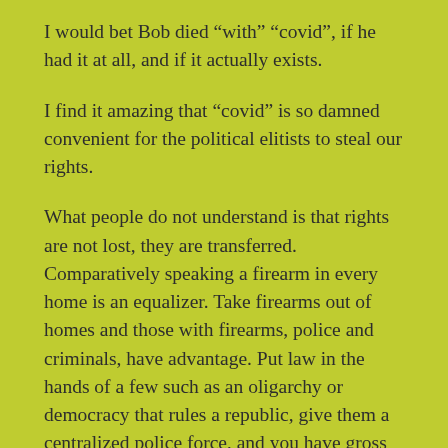I would bet Bob died “with” “covid”, if he had it at all, and if it actually exists.
I find it amazing that “covid” is so damned convenient for the political elitists to steal our rights.
What people do not understand is that rights are not lost, they are transferred. Comparatively speaking a firearm in every home is an equalizer. Take firearms out of homes and those with firearms, police and criminals, have advantage. Put law in the hands of a few such as an oligarchy or democracy that rules a republic, give them a centralized police force, and you have gross inequality for self preservation, and murder.
Give up your right to refuse to do things you feel are